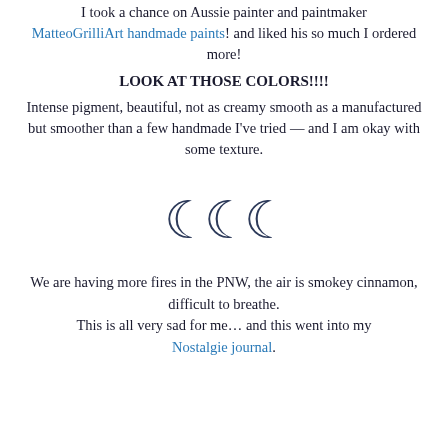I took a chance on Aussie painter and paintmaker MatteoGrilliArt handmade paints! and liked his so much I ordered more!
LOOK AT THOSE COLORS!!!!
Intense pigment, beautiful, not as creamy smooth as a manufactured but smoother than a few handmade I've tried — and I am okay with some texture.
[Figure (illustration): Three crescent moon symbols in a row]
We are having more fires in the PNW, the air is smokey cinnamon, difficult to breathe. This is all very sad for me… and this went into my Nostalgie journal.